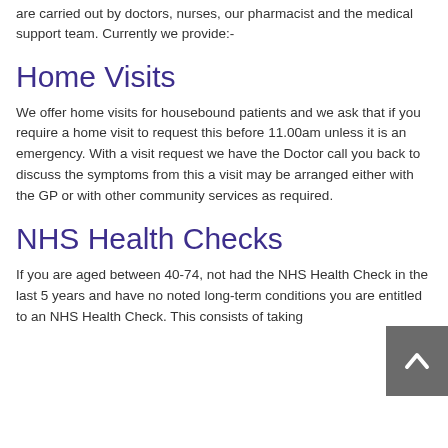are carried out by doctors, nurses, our pharmacist and the medical support team. Currently we provide:-
Home Visits
We offer home visits for housebound patients and we ask that if you require a home visit to request this before 11.00am unless it is an emergency. With a visit request we have the Doctor call you back to discuss the symptoms from this a visit may be arranged either with the GP or with other community services as required.
NHS Health Checks
If you are aged between 40-74, not had the NHS Hea... in the last 5 years and have no noted long-term condi... are entitled to an NHS Health Check. This consists of taking